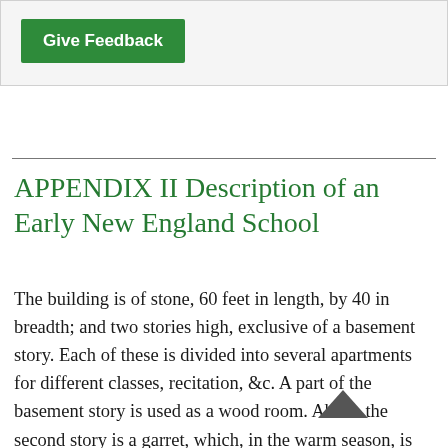[Figure (other): Green 'Give Feedback' button inside a light gray bordered box]
APPENDIX II Description of an Early New England School
The building is of stone, 60 feet in length, by 40 in breadth; and two stories high, exclusive of a basement story. Each of these is divided into several apartments for different classes, recitation, &c. A part of the basement story is used as a wood room. Above the second story is a garret, which, in the warm season, is sometimes occupied by the pupils, both for study and recitation. A small cupula is furnished with a bell to summon the school together. There are several out-houses in the rear of the establishment, enclosed by a wall; and the yard, which is about four rods square, is separated into two portions, for each of the two sexes. These yards are the only play-grounds allowed